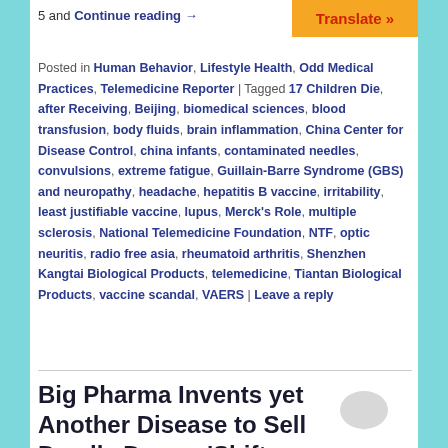5 and Continue reading →
[Figure (other): Orange Translate button]
Posted in Human Behavior, Lifestyle Health, Odd Medical Practices, Telemedicine Reporter | Tagged 17 Children Die, after Receiving, Beijing, biomedical sciences, blood transfusion, body fluids, brain inflammation, China Center for Disease Control, china infants, contaminated needles, convulsions, extreme fatigue, Guillain-Barre Syndrome (GBS) and neuropathy, headache, hepatitis B vaccine, irritability, least justifiable vaccine, lupus, Merck's Role, multiple sclerosis, National Telemedicine Foundation, NTF, optic neuritis, radio free asia, rheumatoid arthritis, Shenzhen Kangtai Biological Products, telemedicine, Tiantan Biological Products, vaccine scandal, VAERS | Leave a reply
Big Pharma Invents yet Another Disease to Sell Deadly Drugs: 'Shift Work Disorder'